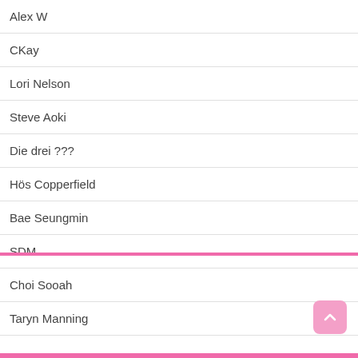Alex W
CKay
Lori Nelson
Steve Aoki
Die drei ???
Hös Copperfield
Bae Seungmin
SDM
Choi Sooah
Taryn Manning